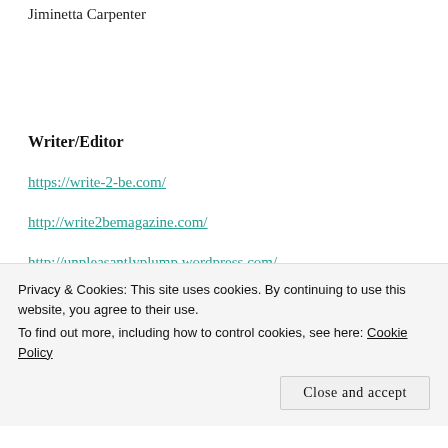Jiminetta Carpenter
Writer/Editor
https://write-2-be.com/
http://write2bemagazine.com/
http://unpleasantlyplump.wordpress.com/
Privacy & Cookies: This site uses cookies. By continuing to use this website, you agree to their use.
To find out more, including how to control cookies, see here: Cookie Policy
Close and accept